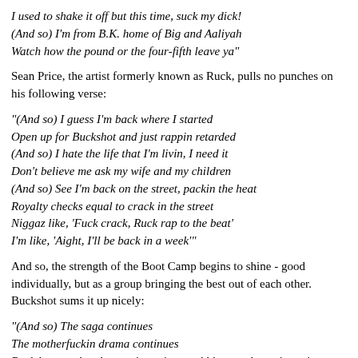I used to shake it off but this time, suck my dick!
(And so) I'm from B.K. home of Big and Aaliyah
Watch how the pound or the four-fifth leave ya"
Sean Price, the artist formerly known as Ruck, pulls no punches on his following verse:
"(And so) I guess I'm back where I started
Open up for Buckshot and just rappin retarded
(And so) I hate the life that I'm livin, I need it
Don't believe me ask my wife and my children
(And so) See I'm back on the street, packin the heat
Royalty checks equal to crack in the street
Niggaz like, 'Fuck crack, Ruck rap to the beat'
I'm like, 'Aight, I'll be back in a week'"
And so, the strength of the Boot Camp begins to shine - good individually, but as a group bringing the best out of each other. Buckshot sums it up nicely:
"(And so) The saga continues
The motherfuckin drama continues
Buck brung a bomb to ya interview, and blew up the main topic
'What's up with Boot Camp Clik son? They ain't knockin
They ain't hot and, ain't droppin the now topics'
But listen nigga, this is how I pop shit